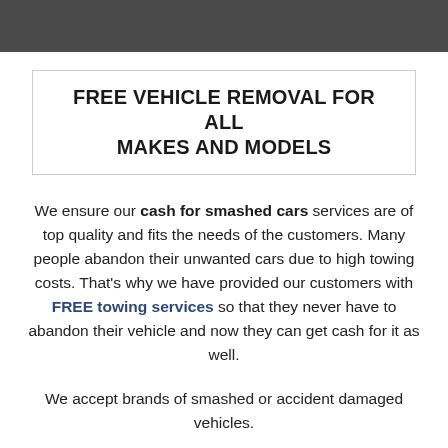FREE VEHICLE REMOVAL FOR ALL MAKES AND MODELS
We ensure our cash for smashed cars services are of top quality and fits the needs of the customers. Many people abandon their unwanted cars due to high towing costs. That's why we have provided our customers with FREE towing services so that they never have to abandon their vehicle and now they can get cash for it as well.
We accept brands of smashed or accident damaged vehicles.